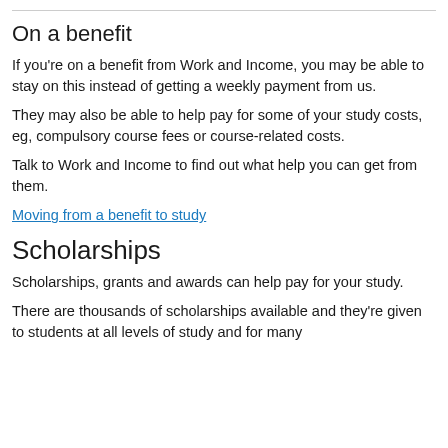On a benefit
If you're on a benefit from Work and Income, you may be able to stay on this instead of getting a weekly payment from us.
They may also be able to help pay for some of your study costs, eg, compulsory course fees or course-related costs.
Talk to Work and Income to find out what help you can get from them.
Moving from a benefit to study
Scholarships
Scholarships, grants and awards can help pay for your study.
There are thousands of scholarships available and they're given to students at all levels of study and for many